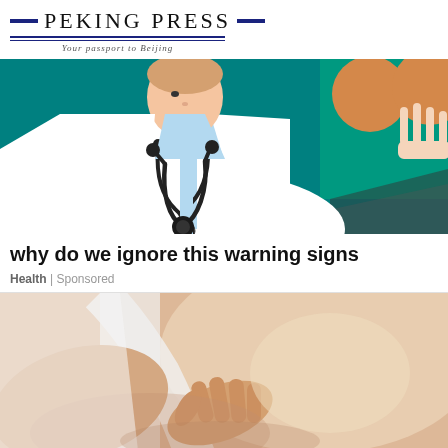PEKING PRESS — Your passport to Beijing
[Figure (illustration): Medical illustration showing a doctor in a white coat with stethoscope on a teal/green background, and orange circular shapes on the right side]
why do we ignore this warning signs
Health | Sponsored
[Figure (photo): Close-up photo of a person's torso and arm in a white tank top, with their hand touching their side/ribs area]